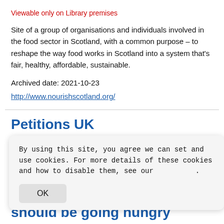Viewable only on Library premises
Site of a group of organisations and individuals involved in the food sector in Scotland, with a common purpose – to reshape the way food works in Scotland into a system that's fair, healthy, affordable, sustainable.
Archived date: 2021-10-23
http://www.nourishscotland.org/
Petitions UK
By using this site, you agree we can set and use cookies. For more details of these cookies and how to disable them, see our .
should be going hungry